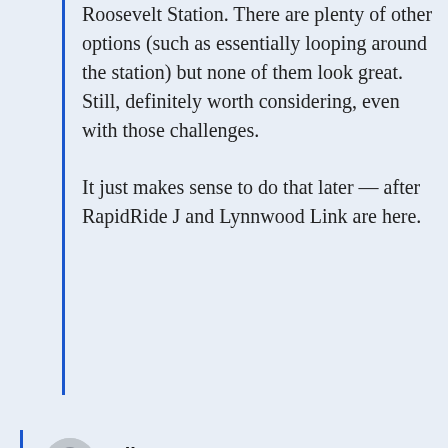Roosevelt Station. There are plenty of other options (such as essentially looping around the station) but none of them look great. Still, definitely worth considering, even with those challenges.
It just makes sense to do that later — after RapidRide J and Lynnwood Link are here.
Mike Orr
FEBRUARY 18, 2020 AT 3:46 PM
The 45 can be seen as a northwest-southeast corridor, a complement to the